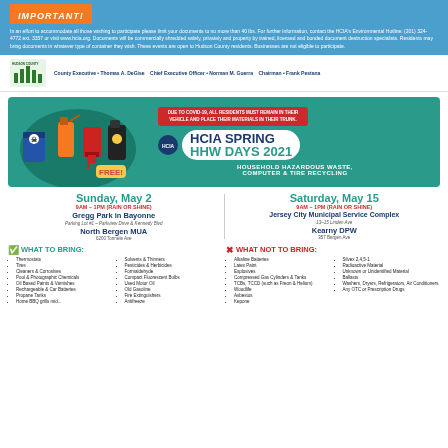IMPORTANT!
In an effort to accommodate all those wishing to participate please limit your documents to no more than 40 lbs. For further information, contact the HCIA's Environmental Hotline: (201) 324-4772 ext. 3357 or visit www.hcia.org. Documents will be commercially shredded safely, privately and properly by trained, licensed and bonded document destruction specialists. Residents may bring documents in whatever type of container they wish. These events are open to Hudson County residents. Businesses are not eligible to participate.
County Executive • Thomas A. DeGise   Chief Executive Officer • Norman M. Guerra   Chairman • Frank Pestana
[Figure (infographic): HCIA Spring HHW Days 2021 flyer with COVID notice, household hazardous waste imagery, FREE badge, and event title]
Sunday, May 2
9AM – 1PM (RAIN OR SHINE)
Gregg Park in Bayonne
Parking Lot #1 – Parkview Drive & Kennedy Blvd
North Bergen MUA
6200 Tonnele Ave
Saturday, May 15
9AM – 1PM (RAIN OR SHINE)
Jersey City Municipal Service Complex
13–15 Linden Ave
Kearny DPW
357 Bergen Ave
✔ WHAT TO BRING:
Thermostats
Tires
Cleaners & Corrosives
Pool & Photographic Chemicals
Oil Based Paints & Varnishes
Rechargeable & Car Batteries
Propane Tanks
Solvents & Thinners
Pesticides & Herbicides
Formaldehyde
Compact Fluorescent Bulbs
Used Motor Oil
Old Gasoline
Fire Extinguishers
Antifreeze
✗ WHAT NOT TO BRING:
Alkaline Batteries
Latex Paint
Explosives
Compressed Gas Cylinders & Tanks
TCBs, TCCD (such as Freon & Helium)
Woodlife
Asbestos
Kepone
Silvex 2,4,5-1
Radioactive Material
Unknown or Unidentified Material
Ballasts
Washers, Dryers, Refrigerators, Air Conditioners
Any OTC or Prescription Drugs